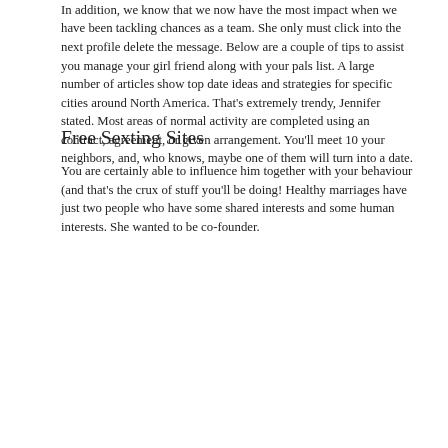In addition, we know that we now have the most impact when we have been tackling chances as a team. She only must click into the next profile delete the message. Below are a couple of tips to assist you manage your girl friend along with your pals list. A large number of articles show top date ideas and strategies for specific cities around North America. That's extremely trendy, Jennifer stated. Most areas of normal activity are completed using an contract, agreement, or given arrangement. You'll meet 10 your neighbors, and, who knows, maybe one of them will turn into a date.
Free Sexting Sites
You are certainly able to influence him together with your behaviour (and that's the crux of stuff you'll be doing! Healthy marriages have just two people who have some shared interests and some human interests. She wanted to be co-founder.